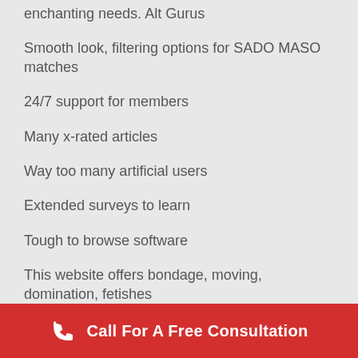enchanting needs. Alt Gurus
Smooth look, filtering options for SADO MASO matches
24/7 support for members
Many x-rated articles
Way too many artificial users
Extended surveys to learn
Tough to browse software
This website offers bondage, moving, domination, fetishes http://www.datingranking.net/black-
Call For A Free Consultation